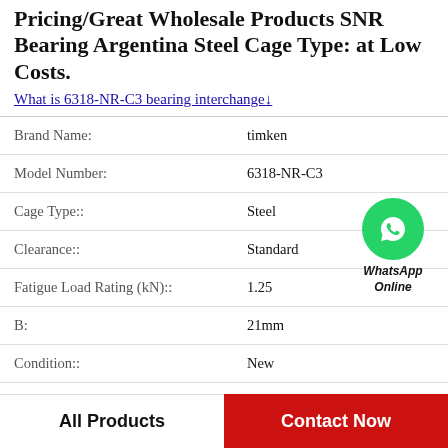Pricing/Great Wholesale Products SNR Bearing Argentina Steel Cage Type: at Low Costs.
What is 6318-NR-C3 bearing interchange↓
| Property | Value |
| --- | --- |
| Brand Name: | timken |
| Model Number: | 6318-NR-C3 |
| Cage Type:: | Steel |
| Clearance:: | Standard |
| Fatigue Load Rating (kN):: | 1.25 |
| B: | 21mm |
| Condition:: | New |
| Static Load Rating (kN):: | 29 |
[Figure (illustration): WhatsApp Online green phone icon with WhatsApp Online label]
All Products
Contact Now